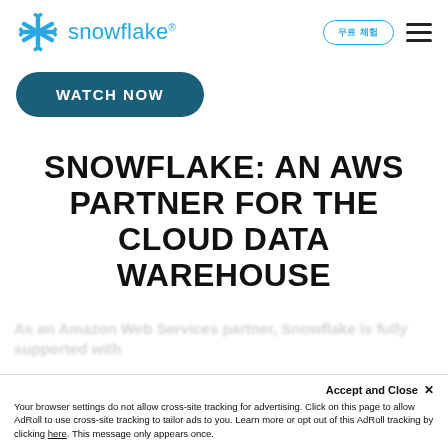snowflake® | 무료 체험 | ≡
WATCH NOW
SNOWFLAKE: AN AWS PARTNER FOR THE CLOUD DATA WAREHOUSE
Accept and Close ✕
Your browser settings do not allow cross-site tracking for advertising. Click on this page to allow AdRoll to use cross-site tracking to tailor ads to you. Learn more or opt out of this AdRoll tracking by clicking here. This message only appears once.
As an Amazon Web Services partner, Snowflake is fully supported with...